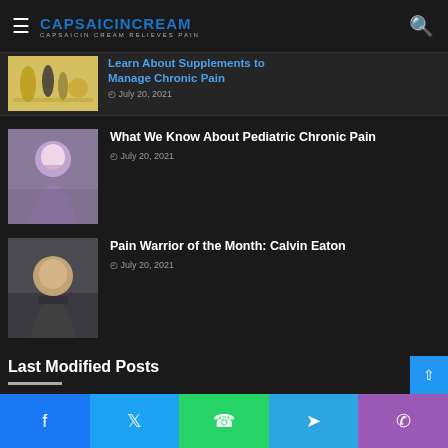CAPSAICINCREAM — CAPSAICIN CREAM RELIEVES PAIN
Learn About Supplements to Manage Chronic Pain — July 20, 2021
What We Know About Pediatric Chronic Pain — July 20, 2021
Pain Warrior of the Month: Calvin Eaton — July 20, 2021
Last Modified Posts
[Figure (photo): Three thumbnail images of article previews at the bottom of the page]
Facebook | Twitter | WhatsApp | Telegram | Phone